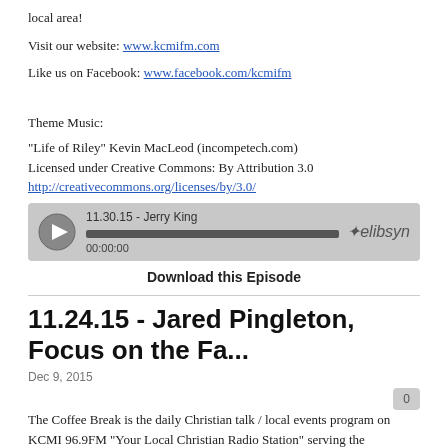local area!
Visit our website: www.kcmifm.com
Like us on Facebook: www.facebook.com/kcmifm
Theme Music:
"Life of Riley" Kevin MacLeod (incompetech.com)
Licensed under Creative Commons: By Attribution 3.0
http://creativecommons.org/licenses/by/3.0/
[Figure (other): Audio player widget showing episode '11.30.15 - Jerry King', timestamp 00:00:00, with play button and Libsyn branding]
Download this Episode
11.24.15 - Jared Pingleton, Focus on the Fa...
Dec 9, 2015
The Coffee Break is the daily Christian talk / local events program on KCMI 96.9FM "Your Local Christian Radio Station" serving the Scottsbluff, NE area. Tune in for interviews with authors, musicians, pastors, and others in the Christian community and our